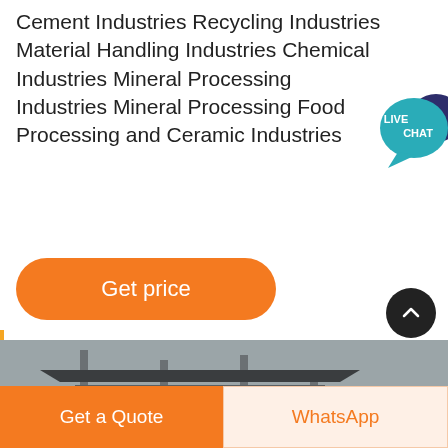Cement Industries Recycling Industries Material Handling Industries Chemical Industries Mineral Processing Industries Mineral Processing Food Processing and Ceramic Industries
[Figure (illustration): Live Chat speech bubble icon with teal/dark blue colors and white text 'LIVE CHAT']
Get price
[Figure (photo): Industrial plant with tall metal structures, silos, conveyor systems, and processing equipment against a grey sky]
Get a Quote
WhatsApp